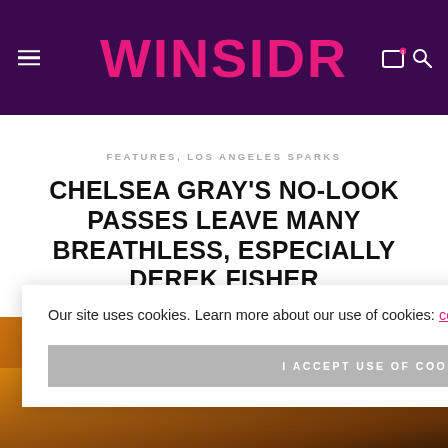WINSIDR
FEATURES, LOS ANGELES SPARKS
CHELSEA GRAY'S NO-LOOK PASSES LEAVE MANY BREATHLESS, ESPECIALLY DEREK FISHER
Our site uses cookies. Learn more about our use of cookies: cookie policy
I ACCEPT USE OF COOKIES
Scroll To